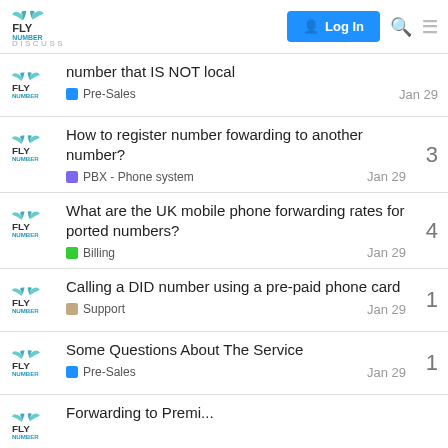FlyNumber Discuss — Log In
number that IS NOT local — Pre-Sales — Jan 29
How to register number fowarding to another number? — PBX - Phone system — Jan 29 — 3 replies
What are the UK mobile phone forwarding rates for ported numbers? — Billing — Jan 29 — 4 replies
Calling a DID number using a pre-paid phone card — Support — Jan 29 — 1 reply
Some Questions About The Service — Pre-Sales — Jan 29 — 1 reply
Forwarding to Premium...